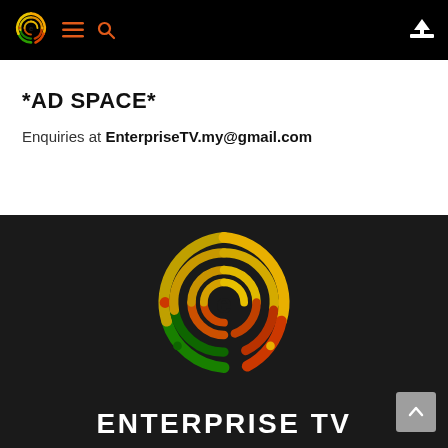[Figure (logo): Enterprise TV circular fingerprint-style logo in nav bar, with gradient from green to yellow to orange-red]
*AD SPACE*
Enquiries at EnterpriseTV.my@gmail.com
[Figure (logo): Enterprise TV large circular fingerprint-style logo with gradient from green at bottom to yellow at top to orange-red, on dark background, with ENTERPRISE TV text below]